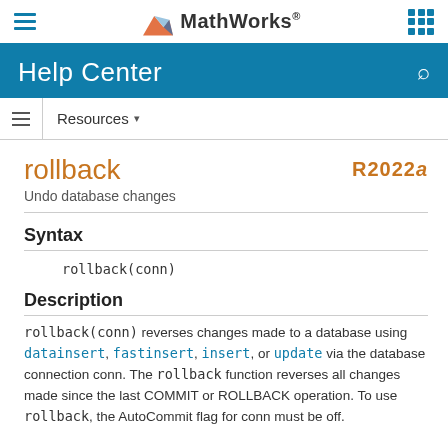MathWorks Help Center
rollback
Undo database changes
R2022a
Syntax
rollback(conn)
Description
rollback(conn) reverses changes made to a database using datainsert, fastinsert, insert, or update via the database connection conn. The rollback function reverses all changes made since the last COMMIT or ROLLBACK operation. To use rollback, the AutoCommit flag for conn must be off.